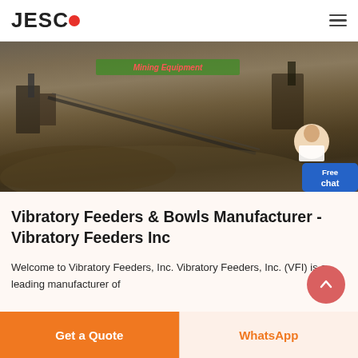JESCO
[Figure (photo): Aerial/overhead view of a mining or quarry construction site with excavation equipment and conveyor belts. A green banner with red italic text reading 'Mining Equipment' is overlaid on the image. A customer service representative avatar and a blue 'Free chat' button appear in the bottom-right corner of the image.]
Vibratory Feeders & Bowls Manufacturer - Vibratory Feeders Inc
Welcome to Vibratory Feeders, Inc. Vibratory Feeders, Inc. (VFI) is a leading manufacturer of
Get a Quote   WhatsApp